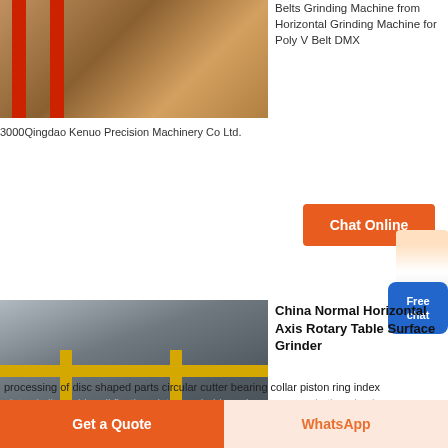[Figure (photo): Industrial grinding machine with red vertical poles and wooden crate in background]
Belts Grinding Machine from Horizontal Grinding Machine for Poly V Belt DMX
3000Qingdao Kenuo Precision Machinery Co Ltd.
[Figure (photo): Horizontal axis rotary table surface grinder machine with yellow safety rails and red rotating component]
China Normal Horizontal Axis Rotary Table Surface Grinder
Normal Horizontal Axis Rotary Table Surface Grinder RSG 400 RSG 500 RSG 630 Performance and Feature 1 This grinder is mainly applicable for grounding processing of disc shaped parts circular cutter bearing collar piston ring index plate similar guide rail fixation plate saw holder valves gears and other circular
[Figure (other): Chat Online button]
[Figure (other): Free chat badge]
[Figure (other): Get a Quote button]
[Figure (other): WhatsApp button]